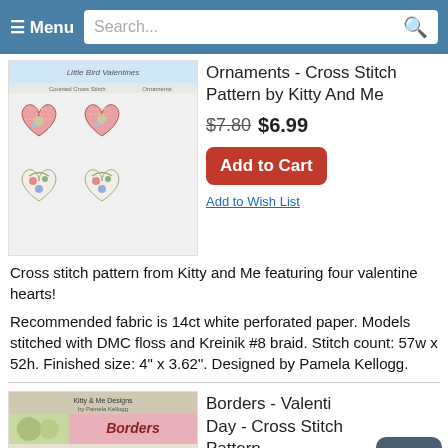≡ Menu  Search...
[Figure (photo): Cross stitch pattern booklet showing four heart-shaped ornaments with bird and floral designs on pink and white striped backgrounds, titled Little Bird Valentines]
Ornaments - Cross Stitch Pattern by Kitty And Me
$7.80 $6.99
Add to Cart
Add to Wish List
Cross stitch pattern from Kitty and Me featuring four valentine hearts!
Recommended fabric is 14ct white perforated paper. Models stitched with DMC floss and Kreinik #8 braid. Stitch count: 57w x 52h. Finished size: 4" x 3.62". Designed by Pamela Kellogg.
[Figure (photo): Cross stitch pattern booklet for Borders - Valentine's Day collection by Pamela Kellogg, showing decorative border designs]
Borders - Valentine Day - Cross Stitch Pattern